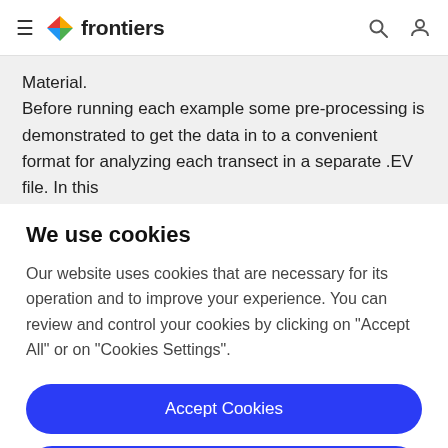frontiers
Material. Before running each example some pre-processing is demonstrated to get the data in to a convenient format for analyzing each transect in a separate .EV file. In this
We use cookies
Our website uses cookies that are necessary for its operation and to improve your experience. You can review and control your cookies by clicking on "Accept All" or on "Cookies Settings".
Accept Cookies
Cookies Settings